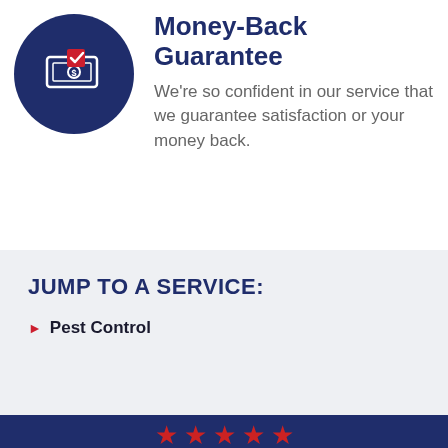[Figure (illustration): Dark navy blue circle icon with a dollar bill and red checkmark graphic]
Money-Back Guarantee
We're so confident in our service that we guarantee satisfaction or your money back.
JUMP TO A SERVICE:
Pest Control
[Figure (infographic): Five red star rating icons]
412-746-8122
GET FREE ESTIMATE